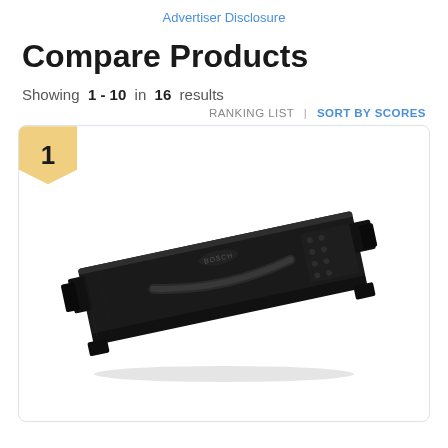Advertiser Disclosure
Compare Products
Showing 1 - 10 in 16 results
RANKING LIST | SORT BY SCORES
[Figure (photo): Rank #1 product card showing a Bosch dishwasher control panel/door assembly, black, viewed at an angle.]